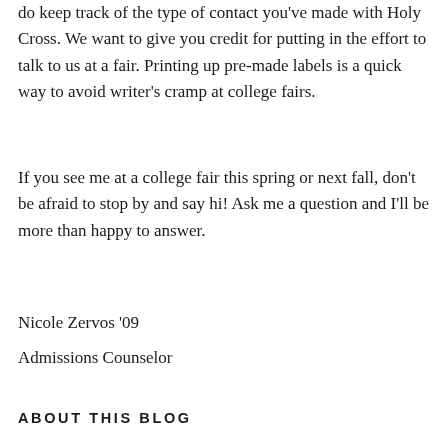do keep track of the type of contact you've made with Holy Cross. We want to give you credit for putting in the effort to talk to us at a fair. Printing up pre-made labels is a quick way to avoid writer's cramp at college fairs.
If you see me at a college fair this spring or next fall, don't be afraid to stop by and say hi! Ask me a question and I'll be more than happy to answer.
Nicole Zervos '09
Admissions Counselor
ABOUT THIS BLOG